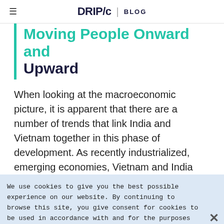DRIP/c BLOG
Moving People Onward and Upward
When looking at the macroeconomic picture, it is apparent that there are a number of trends that link India and Vietnam together in this phase of development. As recently industrialized, emerging economies, Vietnam and India
We use cookies to give you the best possible experience on our website. By continuing to browse this site, you give consent for cookies to be used in accordance with and for the purposes set out in our Privacy Policy and acknowledge that your have read, understood and consented to all terms and conditions therein.
fifteen years ago, and the beginning of